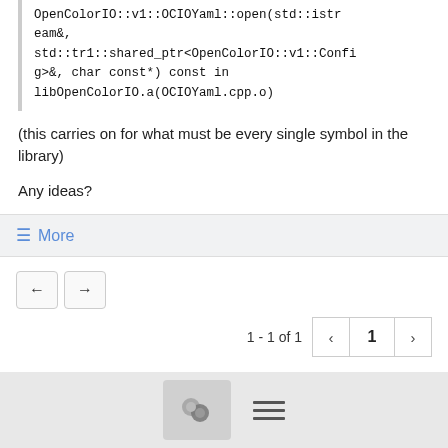OpenColorIO::v1::OCIOYaml::open(std::istream&,
std::tr1::shared_ptr<OpenColorIO::v1::Config>&, char const*) const in
libOpenColorIO.a(OCIOYaml.cpp.o)
(this carries on for what must be every single symbol in the library)
Any ideas?
≡ More
[Figure (other): Navigation buttons (back arrow, forward arrow) and pagination showing 1 - 1 of 1 with page number 1 and prev/next arrows]
[Figure (other): Bottom bar with chat icon button and hamburger menu icon]